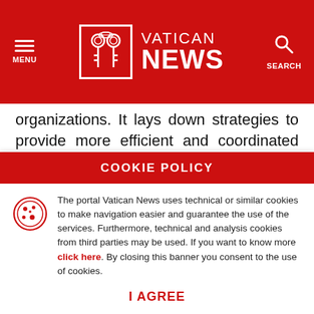Vatican News — MENU / SEARCH header
organizations. It lays down strategies to provide more efficient and coordinated support to countries to ensure global availability and sustainable management of water and sanitation for all.
Sustainable Development Goal 6 is one of 17
COOKIE POLICY
The portal Vatican News uses technical or similar cookies to make navigation easier and guarantee the use of the services. Furthermore, technical and analysis cookies from third parties may be used. If you want to know more click here. By closing this banner you consent to the use of cookies.
I AGREE